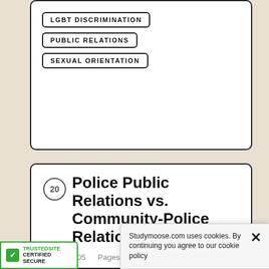LGBT DISCRIMINATION
PUBLIC RELATIONS
SEXUAL ORIENTATION
20 Police Public Relations vs. Community-Police Relations
Words • 505    Pages • 2
Paper Type: 500 word essay Examples
Differences Between Police Public Relations Programs and Police-Community Relations Programs Police-Community programs and Police similar in many